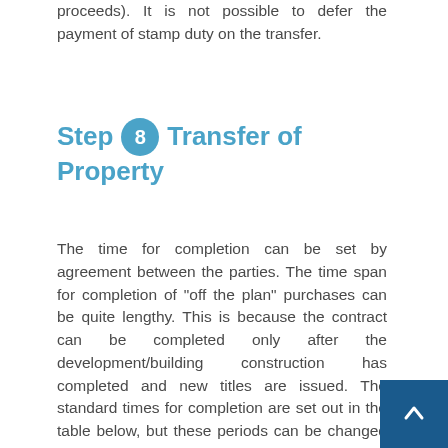proceeds). It is not possible to defer the payment of stamp duty on the transfer.
Step 8 Transfer of Property
The time for completion can be set by agreement between the parties. The time span for completion of “off the plan” purchases can be quite lengthy. This is because the contract can be completed only after the development/building construction has completed and new titles are issued. The standard times for completion are set out in the table below, but these periods can be changed by agreement between the vendor and the